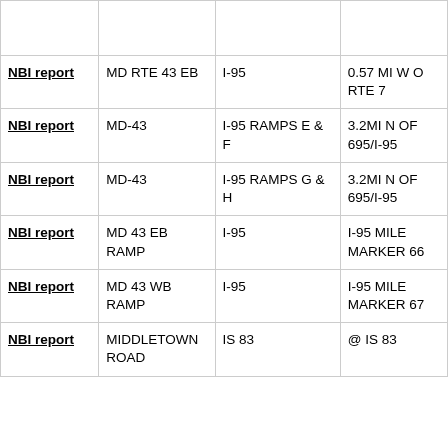|  |  |  |  |
| --- | --- | --- | --- |
|  |  |  |  |
| NBI report | MD RTE 43 EB | I-95 | 0.57 MI W O RTE 7 |
| NBI report | MD-43 | I-95 RAMPS E & F | 3.2MI N OF 695/I-95 |
| NBI report | MD-43 | I-95 RAMPS G & H | 3.2MI N OF 695/I-95 |
| NBI report | MD 43 EB RAMP | I-95 | I-95 MILE MARKER 66 |
| NBI report | MD 43 WB RAMP | I-95 | I-95 MILE MARKER 67 |
| NBI report | MIDDLETOWN ROAD | IS 83 | @ IS 83 |